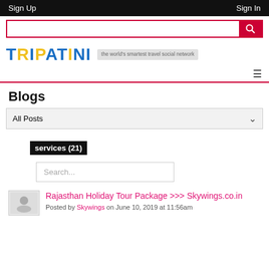Sign Up   Sign In
[Figure (screenshot): Search box with red border and red search icon button]
[Figure (logo): TRIPATINI logo in blue and yellow with tagline 'the world's smartest travel social network']
Blogs
All Posts (dropdown)
services (21)
Search...
Rajasthan Holiday Tour Package >>> Skywings.co.in
Posted by Skywings on June 10, 2019 at 11:56am